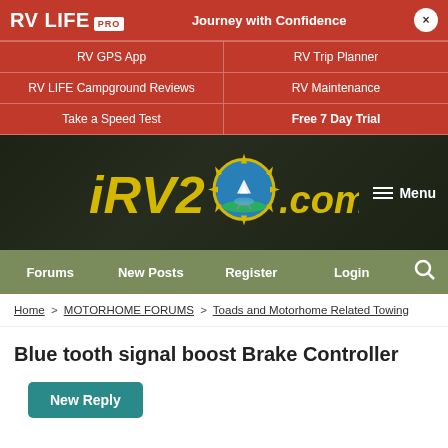RV LIFE PRO | Journey with Confidence | RV GPS App | RV Trip Planner | RV LIFE Campground Reviews | RV Maintenance | Take a Speed Test | Free 7 Day Trial
[Figure (logo): iRV2.com logo with stylized sun/compass globe, yellow italic lettering on dark background with RV truck visible]
Forums | New Posts | Register | Login
Home > MOTORHOME FORUMS > Toads and Motorhome Related Towing
Blue tooth signal boost Brake Controller
New Reply